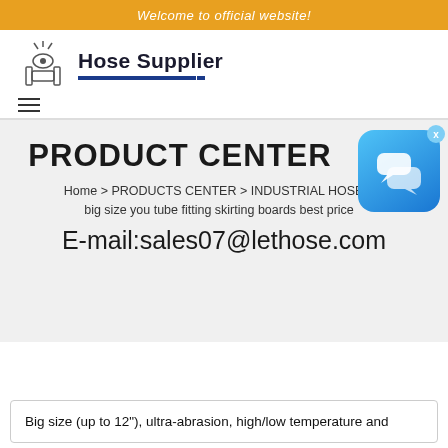Welcome to official website!
[Figure (logo): Hose Supplier logo with industrial equipment icon and blue underline]
PRODUCT CENTER
Home > PRODUCTS CENTER > INDUSTRIAL HOSE > big size you tube fitting skirting boards best price
E-mail:sales07@lethose.com
[Figure (illustration): Blue chat/messaging app icon widget with X close button]
Big size (up to 12"), ultra-abrasion, high/low temperature and